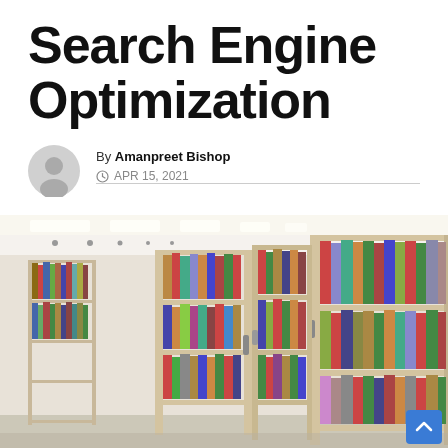Search Engine Optimization
By Amanpreet Bishop
APR 15, 2021
[Figure (photo): Library interior showing multiple rows of bookshelves filled with colorful books, bright ceiling lights, viewed from a perspective angle.]